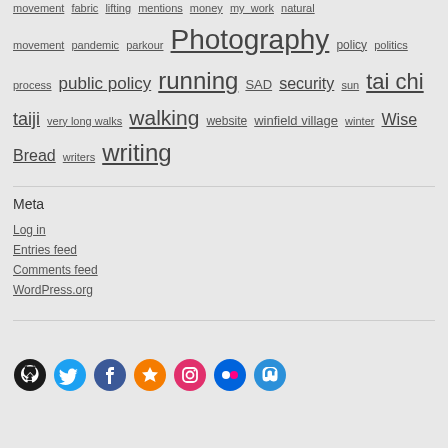movement fabric lifting mentions money my_work natural movement pandemic parkour Photography policy politics process public policy running SAD security sun tai chi taiji very long walks walking website winfield village winter Wise Bread writers writing
Meta
Log in
Entries feed
Comments feed
WordPress.org
[Figure (other): Social media icons: GitHub (black), Twitter (blue), Facebook (blue), Micro.blog star (orange), Instagram (pink/red), Flickr (blue dots), Mastodon (blue)]